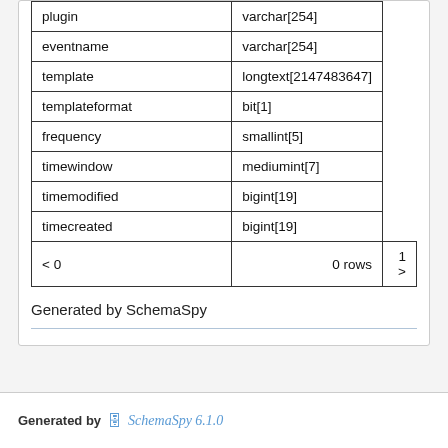| Column | Type |
| --- | --- |
| plugin | varchar[254] |
| eventname | varchar[254] |
| template | longtext[2147483647] |
| templateformat | bit[1] |
| frequency | smallint[5] |
| timewindow | mediumint[7] |
| timemodified | bigint[19] |
| timecreated | bigint[19] |
| < 0 | 0 rows | 1 > |
Generated by SchemaSpy
Generated by SchemaSpy 6.1.0